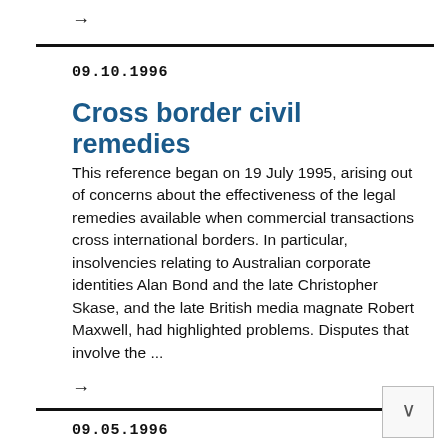→
09.10.1996
Cross border civil remedies
This reference began on 19 July 1995, arising out of concerns about the effectiveness of the legal remedies available when commercial transactions cross international borders. In particular, insolvencies relating to Australian corporate identities Alan Bond and the late Christopher Skase, and the late British media magnate Robert Maxwell, had highlighted problems. Disputes that involve the ...
→
09.05.1996